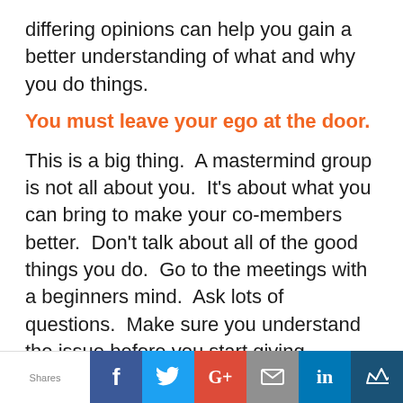differing opinions can help you gain a better understanding of what and why you do things.
You must leave your ego at the door.
This is a big thing.  A mastermind group is not all about you.  It’s about what you can bring to make your co-members better.  Don’t talk about all of the good things you do.  Go to the meetings with a beginners mind.  Ask lots of questions.  Make sure you understand the issue before you start giving advice.  The more humble you are in the meetings the more you’re going to get out of them.
What do you think?  Have you had mastermind
Shares | f | Twitter | G+ | Email | in | Crown